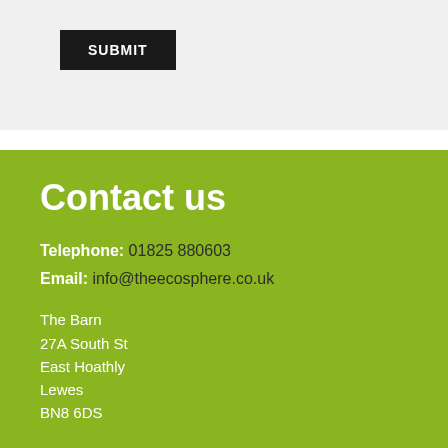[Figure (other): A dark/black submit button with white capitalized text 'SUBMIT' on a light grey background]
Contact us
Telephone: 01825 880603
Email: info@theecosphere.co.uk
The Barn
27A South St
East Hoathly
Lewes
BN8 6DS